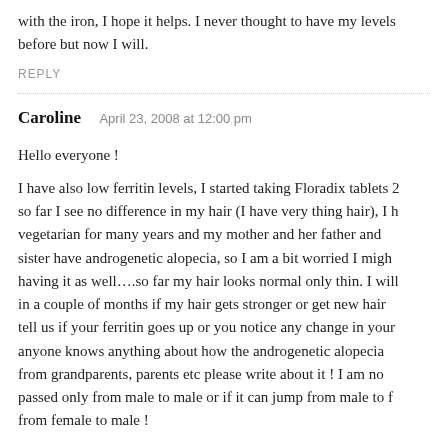with the iron, I hope it helps. I never thought to have my levels before but now I will.
REPLY
Caroline   April 23, 2008 at 12:00 pm
Hello everyone !
I have also low ferritin levels, I started taking Floradix tablets 2 so far I see no difference in my hair (I have very thing hair), I h vegetarian for many years and my mother and her father and sister have androgenetic alopecia, so I am a bit worried I migh having it as well….so far my hair looks normal only thin. I will in a couple of months if my hair gets stronger or get new hair tell us if your ferritin goes up or you notice any change in your anyone knows anything about how the androgenetic alopecia from grandparents, parents etc please write about it ! I am no passed only from male to male or if it can jump from male to f from female to male !